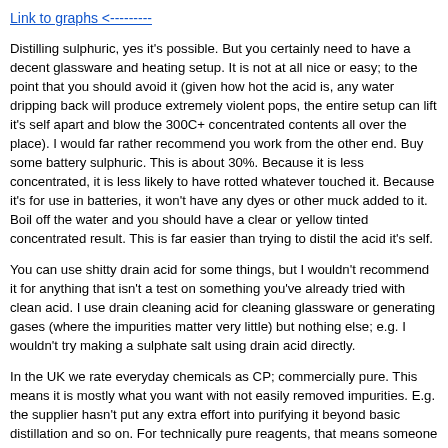Link to graphs <---------
Distilling sulphuric, yes it's possible. But you certainly need to have a decent glassware and heating setup. It is not at all nice or easy; to the point that you should avoid it (given how hot the acid is, any water dripping back will produce extremely violent pops, the entire setup can lift it's self apart and blow the 300C+ concentrated contents all over the place). I would far rather recommend you work from the other end. Buy some battery sulphuric. This is about 30%. Because it is less concentrated, it is less likely to have rotted whatever touched it. Because it's for use in batteries, it won't have any dyes or other muck added to it. Boil off the water and you should have a clear or yellow tinted concentrated result. This is far easier than trying to distil the acid it's self.
You can use shitty drain acid for some things, but I wouldn't recommend it for anything that isn't a test on something you've already tried with clean acid. I use drain cleaning acid for cleaning glassware or generating gases (where the impurities matter very little) but nothing else; e.g. I wouldn't try making a sulphate salt using drain acid directly.
In the UK we rate everyday chemicals as CP; commercially pure. This means it is mostly what you want with not easily removed impurities. E.g. the supplier hasn't put any extra effort into purifying it beyond basic distillation and so on. For technically pure reagents, that means someone has specifically looked at the remaining impurities and used 'excessive' methods to remove them. You can